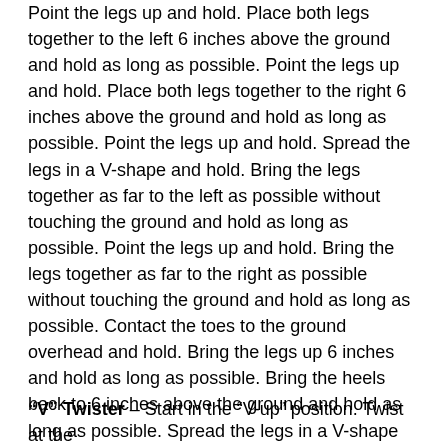Point the legs up and hold. Place both legs together to the left 6 inches above the ground and hold as long as possible. Point the legs up and hold. Place both legs together to the right 6 inches above the ground and hold as long as possible. Point the legs up and hold. Spread the legs in a V-shape and hold. Bring the legs together as far to the left as possible without touching the ground and hold as long as possible. Point the legs up and hold. Bring the legs together as far to the right as possible without touching the ground and hold as long as possible. Contact the toes to the ground overhead and hold. Bring the legs up 6 inches and hold as long as possible. Bring the heels back to 6 inches above the ground and hold as long as possible. Spread the legs in a V-shape and hold as long as possible. Movements may be performed in almost any sequence.
“V” Twister – Start in the “V-up” position. Twist at the